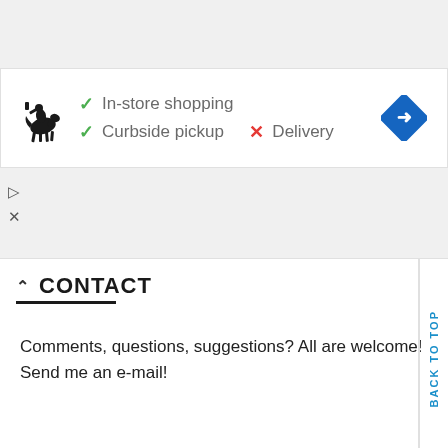[Figure (infographic): Store card showing Polo Ralph Lauren logo with service availability: green checkmarks for In-store shopping and Curbside pickup, red X for Delivery, and a blue directions button.]
[Figure (other): Ad placeholder with play and close icons]
CONTACT
Comments, questions, suggestions? All are welcome!
Send me an e-mail!